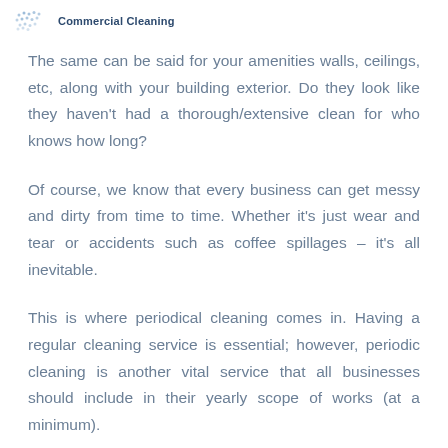Commercial Cleaning
The same can be said for your amenities walls, ceilings, etc, along with your building exterior. Do they look like they haven't had a thorough/extensive clean for who knows how long?
Of course, we know that every business can get messy and dirty from time to time. Whether it's just wear and tear or accidents such as coffee spillages – it's all inevitable.
This is where periodical cleaning comes in. Having a regular cleaning service is essential; however, periodic cleaning is another vital service that all businesses should include in their yearly scope of works (at a minimum).